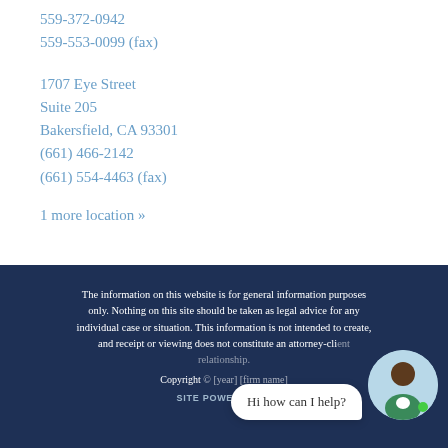559-372-0942
559-553-0099 (fax)
1707 Eye Street
Suite 205
Bakersfield, CA 93301
(661) 466-2142
(661) 554-4463 (fax)
1 more location »
The information on this website is for general information purposes only. Nothing on this site should be taken as legal advice for any individual case or situation. This information is not intended to create, and receipt or viewing does not constitute an attorney-client relationship.
Copyright © [year] [firm name]
SITE POWERED BY
[Figure (illustration): Chat widget showing a speech bubble with text 'Hi how can I help?' and an avatar illustration of a person in a green jacket]